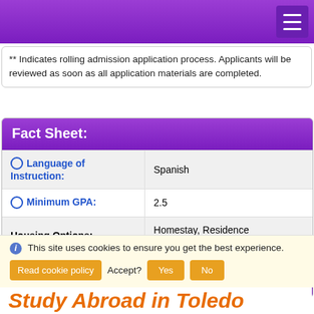** Indicates rolling admission application process. Applicants will be reviewed as soon as all application materials are completed.
| Field | Value |
| --- | --- |
| Language of Instruction: | Spanish |
| Minimum GPA: | 2.5 |
| Housing Options: | Homestay, Residence Hall/Dormitory |
| Program Sponsor: | University of Minnesota |
Program Description:
This site uses cookies to ensure you get the best experience.
Study Abroad in Toledo